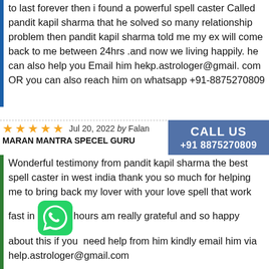to last forever then i found a powerful spell caster Called pandit kapil sharma that he solved so many relationship problem then pandit kapil sharma told me my ex will come back to me between 24hrs .and now we living happily. he can also help you Email him hekp.astrologer@gmail. com OR you can also reach him on whatsapp +91-8875270809
Jul 20, 2022 by Falan
MARANMANTRA SPECEL GURU
CALL US +91 8875270809
Wonderful testimony from pandit kapil sharma the best spell caster in west india thank you so much for helping me to bring back my lover with your love spell that work fast in just hours am really grateful and so happy about this if you need help from him kindly email him via help.astrologer@gmail.com